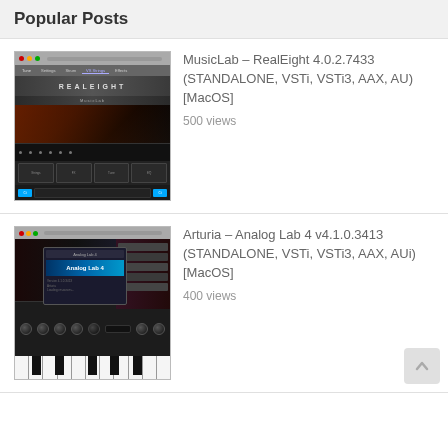Popular Posts
[Figure (screenshot): Screenshot of MusicLab RealEight guitar plugin software interface showing guitar fretboard and controls]
MusicLab – RealEight 4.0.2.7433 (STANDALONE, VSTi, VSTi3, AAX, AU) [MacOS]
500 views
[Figure (screenshot): Screenshot of Arturia Analog Lab 4 software interface showing synthesizer keyboard and Analog Lab 4 popup dialog]
Arturia – Analog Lab 4 v4.1.0.3413 (STANDALONE, VSTi, VSTi3, AAX, AUi) [MacOS]
400 views